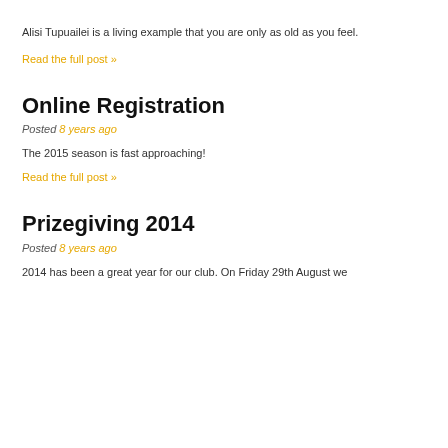Alisi Tupuailei is a living example that you are only as old as you feel.
Read the full post »
Online Registration
Posted 8 years ago
The 2015 season is fast approaching!
Read the full post »
Prizegiving 2014
Posted 8 years ago
2014 has been a great year for our club. On Friday 29th August we